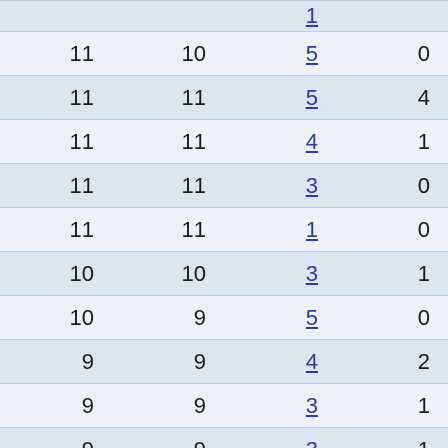| Col1 | Col2 | Col3 | Col4 |
| --- | --- | --- | --- |
|  |  | 1 |  |
| 11 | 10 | 5 | 0 |
| 11 | 11 | 5 | 4 |
| 11 | 11 | 4 | 1 |
| 11 | 11 | 3 | 0 |
| 11 | 11 | 1 | 0 |
| 10 | 10 | 3 | 1 |
| 10 | 9 | 5 | 0 |
| 9 | 9 | 4 | 2 |
| 9 | 9 | 3 | 1 |
| 9 | 9 | 3 | 1 |
| 9 | 9 | 3 | 2 |
| 9 | 9 | 2 | 0 |
| 9 | 9 | 6 | 2 |
| 9 | 9 | 1 | 1 |
| 9 | 9 | 2 | 1 |